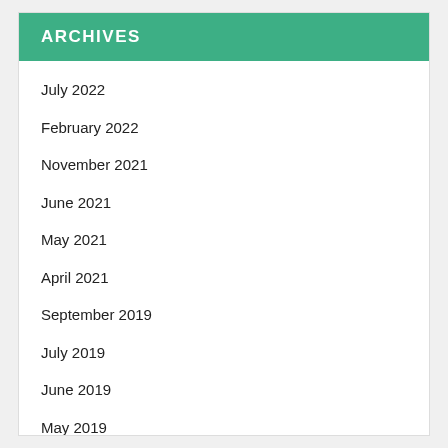ARCHIVES
July 2022
February 2022
November 2021
June 2021
May 2021
April 2021
September 2019
July 2019
June 2019
May 2019
April 2019